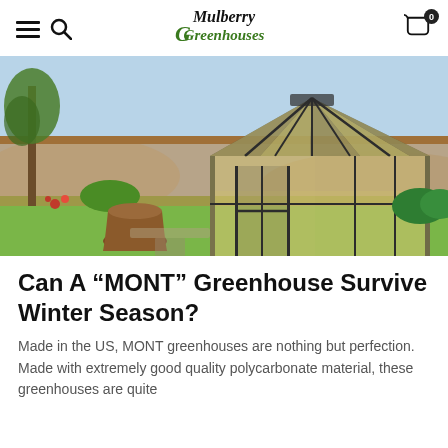Mulberry Greenhouses — navigation header with hamburger menu, search icon, logo, and cart
[Figure (photo): Photo of a MONT greenhouse structure with dark metal frame and translucent polycarbonate panels, set in a suburban backyard with green lawn, trees, shrubs, and a large terracotta planter pot. Sunny day with blue sky in background.]
Can A “MONT” Greenhouse Survive Winter Season?
Made in the US, MONT greenhouses are nothing but perfection. Made with extremely good quality polycarbonate material, these greenhouses are quite